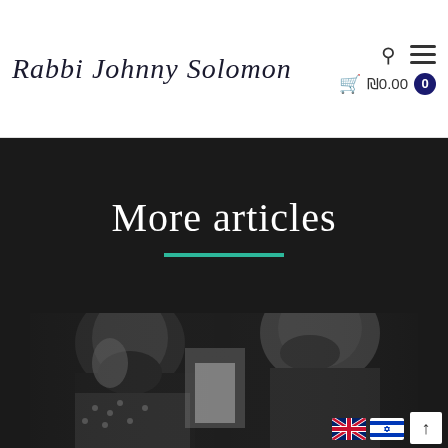Rabbi Johnny Solomon | ₪0.00 0
More articles
[Figure (photo): Black and white photograph showing a bearded man in a patterned shirt, appearing to be bowing or looking downward, partially cropped]
[Figure (other): UK and Israel flag icons in bottom right corner with scroll-to-top arrow button]